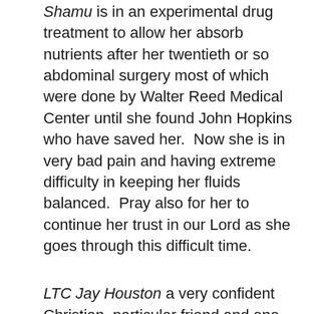Shamu is in an experimental drug treatment to allow her absorb nutrients after her twentieth or so abdominal surgery most of which were done by Walter Reed Medical Center until she found John Hopkins who have saved her.  Now she is in very bad pain and having extreme difficulty in keeping her fluids balanced.  Pray also for her to continue her trust in our Lord as she goes through this difficult time.
LTC Jay Houston a very confident Christian, particular friend and one of Hap's favorite WSOs has major lung issues that have been going on for some time.  Pray also for peace of mind for Jay and his family, as well as a favorable result.